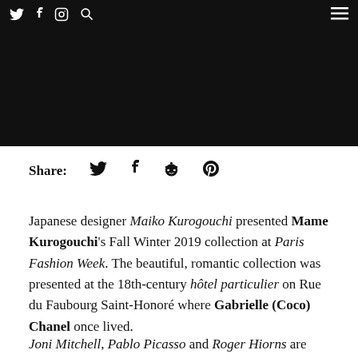Twitter | Facebook | Instagram | Search | Menu
[Figure (photo): Black hero image area]
Share: [Twitter] [Facebook] [Reddit] [Pinterest]
Japanese designer Maiko Kurogouchi presented Mame Kurogouchi's Fall Winter 2019 collection at Paris Fashion Week. The beautiful, romantic collection was presented at the 18th-century hôtel particulier on Rue du Faubourg Saint-Honoré where Gabrielle (Coco) Chanel once lived.
Joni Mitchell, Pablo Picasso and Roger Hiorns are